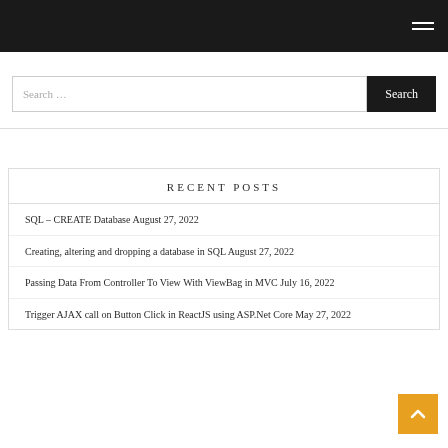Search ...
RECENT POSTS
SQL – CREATE Database August 27, 2022
Creating, altering and dropping a database in SQL August 27, 2022
Passing Data From Controller To View With ViewBag in MVC July 16, 2022
Trigger AJAX call on Button Click in ReactJS using ASP.Net Core May 27, 2022